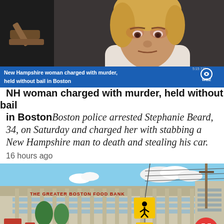[Figure (screenshot): TV news screenshot showing a mugshot of a woman with blonde hair and a lower-third banner reading 'New Hampshire woman charged with murder, held without bail in Boston' with CBS4 WBZ logo]
NH woman charged with murder, held without bail in Boston
Boston police arrested Stephanie Beard, 34, on Saturday and charged her with stabbing a New Hampshire man to death and stealing his car.
16 hours ago
[Figure (photo): Exterior photo of The Greater Boston Food Bank building with trees, yellow pedestrian crossing sign, power lines, and a red circular button overlay in the bottom right corner]